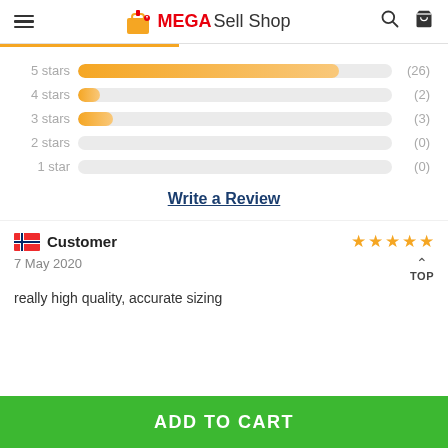MEGASell Shop
[Figure (bar-chart): Star ratings distribution]
Write a Review
Customer
7 May 2020
really high quality, accurate sizing
ADD TO CART